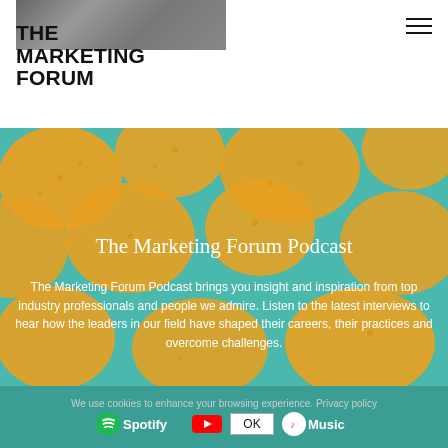[Figure (photo): Partial photo visible at top of page above the logo]
THE MARKETING FORUM
[Figure (illustration): Decorative teal background with large golden/yellow organic blob shapes pattern]
The Marketing Forum Podcast
The Marketing Forum Podcast brings you insight and inspiration from top industry professionals and people we admire. Listen to the latest interviews to hear how the leaders in our field have shaped their careers, their practices and overcome challenges.
We use cookies to enhance your browsing experience. Privacy policy
[Figure (logo): Spotify logo, YouTube logo, Apple Music logo with OK button cookie consent bar]